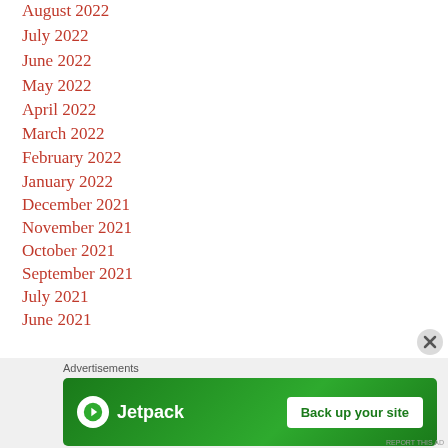August 2022
July 2022
June 2022
May 2022
April 2022
March 2022
February 2022
January 2022
December 2021
November 2021
October 2021
September 2021
July 2021
June 2021
[Figure (screenshot): Jetpack advertisement banner with 'Back up your site' button on green background, with Advertisements label above and close X button]